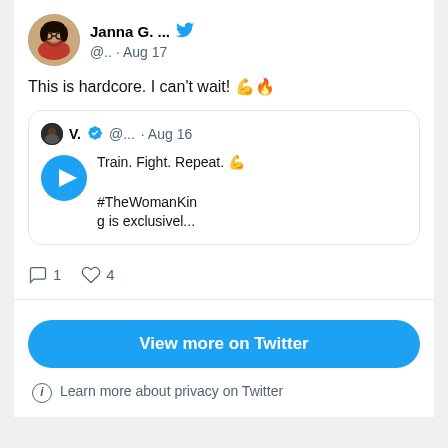Janna G. ... @.. · Aug 17
This is hardcore. I can't wait! 💪🔥
[Figure (screenshot): Quoted tweet from V. (verified) @... · Aug 16 with play button icon and text: Train. Fight. Repeat. 💪 #TheWomanKing is exclusivel...]
1  4
View more on Twitter
ℹ Learn more about privacy on Twitter